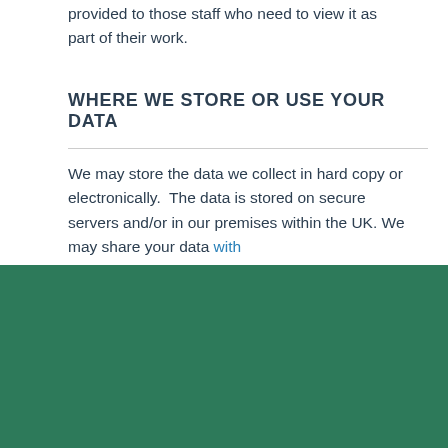Access to your personal data within the University will be provided to those staff who need to view it as part of their work.
WHERE WE STORE OR USE YOUR DATA
We may store the data we collect in hard copy or electronically.  The data is stored on secure servers and/or in our premises within the UK. We may share your data with third parties...
We use cookies to ensure that we give you the best experience on our website. If you click 'Accept all cookies' we'll assume that you are happy to receive all cookies and you won't see this message again. If you click 'Reject all non-essential cookies' only necessary cookies providing core functionality such as security, network management, and accessibility will be enabled. Click 'Find out more' for